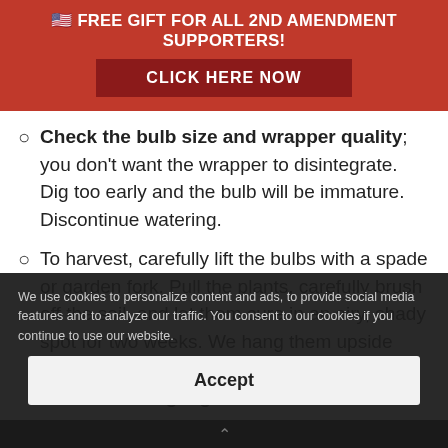🇺🇸 FREE GIFT FOR ALL 2ND AMENDMENT SUPPORTERS!
CLICK HERE NOW
Check the bulb size and wrapper quality; you don't want the wrapper to disintegrate. Dig too early and the bulb will be immature. Discontinue watering.
To harvest, carefully lift the bulbs with a spade or garden fork. Pull the plants, carefully brush off the soil, and let them cure in an airy, shady spot for two weeks. We hang them upside down on a string in bunches of 4 to 6. Make sure all sides get good air circulation.
We use cookies to personalize content and ads, to provide social media features and to analyze our traffic. You consent to our cookies if you continue to use our website.
Accept